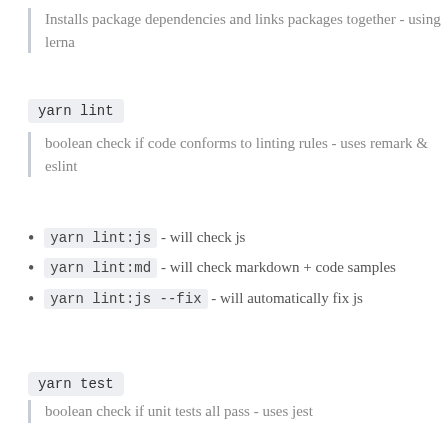Installs package dependencies and links packages together - using lerna
yarn lint
boolean check if code conforms to linting rules - uses remark & eslint
yarn lint:js - will check js
yarn lint:md - will check markdown + code samples
yarn lint:js --fix - will automatically fix js
yarn test
boolean check if unit tests all pass - uses jest